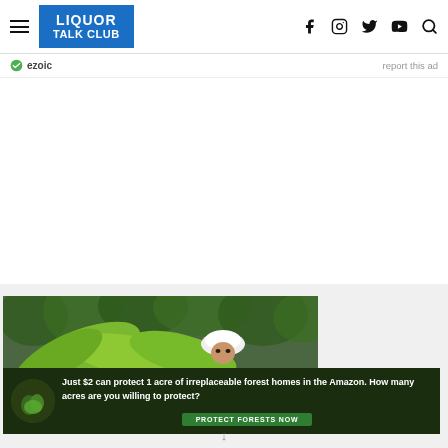LIQUOR TALK CLUB — navigation header with hamburger menu and social icons (Facebook, Instagram, Twitter, YouTube, Search)
ezoic   report this ad
[Figure (illustration): Advertisement banner: Rainforest Alliance / Amazon conservation ad. Top portion shows a person wearing a white hard hat peeking over large green tropical leaves in a lush forest. Bottom strip has dark green background with white bold text: 'Just $2 can protect 1 acre of irreplaceable forest homes in the Amazon. How many acres are you willing to protect?' and a green button 'PROTECT FORESTS NOW'. Left side of strip has small circular icon with animal image.]
↓